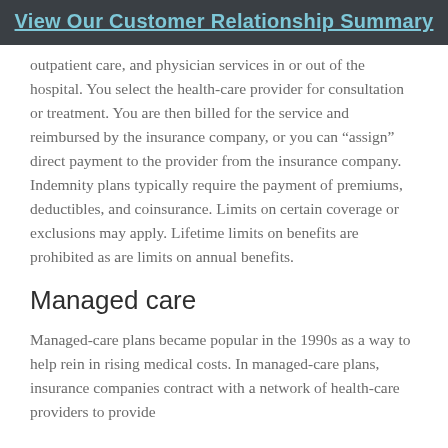View Our Customer Relationship Summary
outpatient care, and physician services in or out of the hospital. You select the health-care provider for consultation or treatment. You are then billed for the service and reimbursed by the insurance company, or you can “assign” direct payment to the provider from the insurance company. Indemnity plans typically require the payment of premiums, deductibles, and coinsurance. Limits on certain coverage or exclusions may apply. Lifetime limits on benefits are prohibited as are limits on annual benefits.
Managed care
Managed-care plans became popular in the 1990s as a way to help rein in rising medical costs. In managed-care plans, insurance companies contract with a network of health-care providers to provide